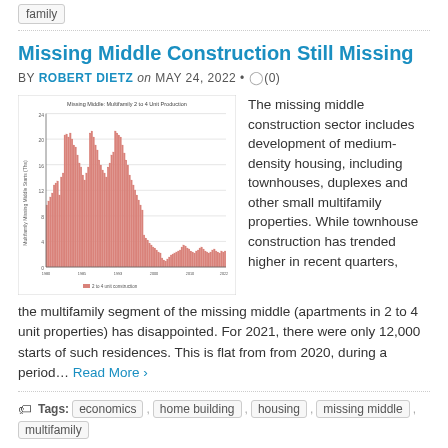family
Missing Middle Construction Still Missing
BY ROBERT DIETZ on MAY 24, 2022 • (0)
[Figure (bar-chart): Bar chart showing multifamily 2 to 4 unit construction starts over time, peaking around the late 1980s-early 1990s at approximately 25 thousand units per quarter, with a sharp decline through the 2000s and remaining very low through recent years around 2-4 thousand units.]
The missing middle construction sector includes development of medium-density housing, including townhouses, duplexes and other small multifamily properties. While townhouse construction has trended higher in recent quarters, the multifamily segment of the missing middle (apartments in 2 to 4 unit properties) has disappointed. For 2021, there were only 12,000 starts of such residences. This is flat from from 2020, during a period… Read More ›
Tags: economics , home building , housing , missing middle , multifamily